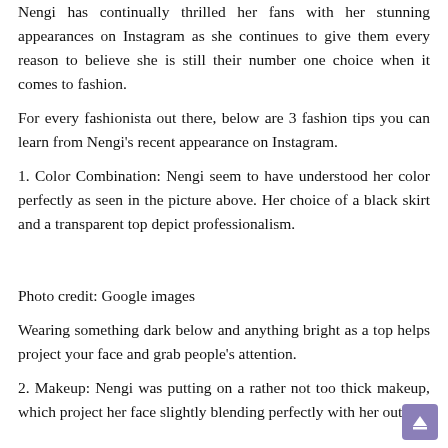Nengi has continually thrilled her fans with her stunning appearances on Instagram as she continues to give them every reason to believe she is still their number one choice when it comes to fashion.
For every fashionista out there, below are 3 fashion tips you can learn from Nengi's recent appearance on Instagram.
1. Color Combination: Nengi seem to have understood her color perfectly as seen in the picture above. Her choice of a black skirt and a transparent top depict professionalism.
Photo credit: Google images
Wearing something dark below and anything bright as a top helps project your face and grab people's attention.
2. Makeup: Nengi was putting on a rather not too thick makeup, which project her face slightly blending perfectly with her outfit.